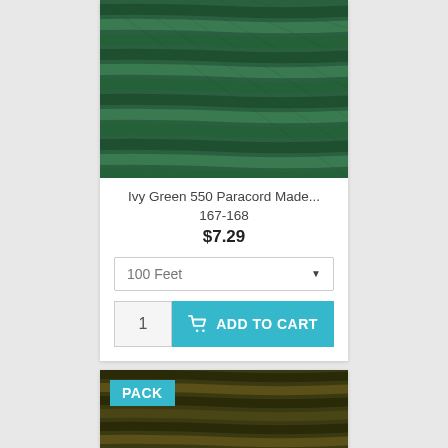[Figure (photo): Close-up photo of ivy green 550 paracord, showing multiple strands of braided green rope closely packed together.]
Ivy Green 550 Paracord Made...
167-168
$7.29
100 Feet
1
ADD TO CART
[Figure (photo): Close-up photo of camouflage-colored 550 paracord with a teal PACK badge in the upper left corner.]